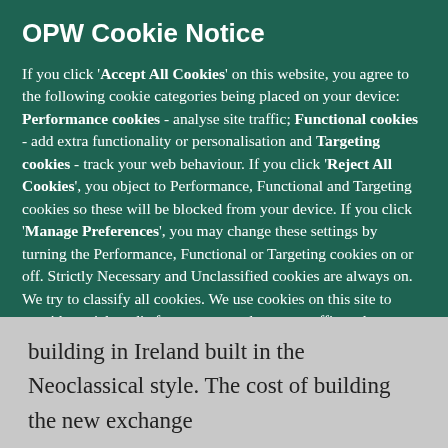OPW Cookie Notice
If you click 'Accept All Cookies' on this website, you agree to the following cookie categories being placed on your device: Performance cookies - analyse site traffic; Functional cookies - add extra functionality or personalisation and Targeting cookies - track your web behaviour. If you click 'Reject All Cookies', you object to Performance, Functional and Targeting cookies so these will be blocked from your device. If you click 'Manage Preferences', you may change these settings by turning the Performance, Functional or Targeting cookies on or off. Strictly Necessary and Unclassified cookies are always on. We try to classify all cookies. We use cookies on this site to provide social media features, to analyse our traffic and to store your consent preferences. We also share information about your use of our site with our social media and analytics providers.
More information
building in Ireland built in the Neoclassical style. The cost of building the new exchange